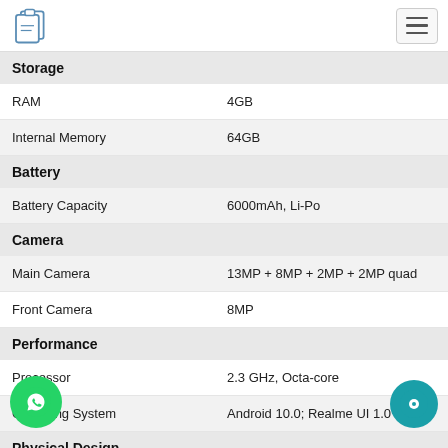Logo and navigation menu
| Specification | Value |
| --- | --- |
| Storage |  |
| RAM | 4GB |
| Internal Memory | 64GB |
| Battery |  |
| Battery Capacity | 6000mAh, Li-Po |
| Camera |  |
| Main Camera | 13MP + 8MP + 2MP + 2MP quad |
| Front Camera | 8MP |
| Performance |  |
| Processor | 2.3 GHz, Octa-core |
| Operating System | Android 10.0; Realme UI 1.0 |
| Physical Design |  |
| Color | Marine Blue, Seagull Silver |